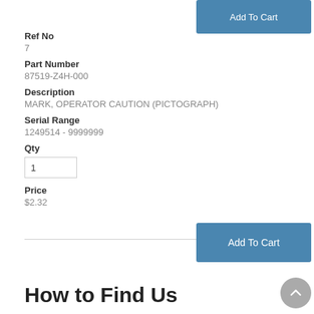Add To Cart
Ref No
7
Part Number
87519-Z4H-000
Description
MARK, OPERATOR CAUTION (PICTOGRAPH)
Serial Range
1249514 - 9999999
Qty
Price
$2.32
Add To Cart
How to Find Us